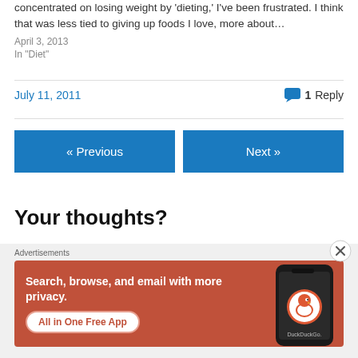concentrated on losing weight by 'dieting,' I've been frustrated. I think that was less tied to giving up foods I love, more about…
April 3, 2013
In "Diet"
July 11, 2011
1 Reply
« Previous
Next »
Your thoughts?
Advertisements
[Figure (screenshot): DuckDuckGo advertisement banner with orange background showing text: 'Search, browse, and email with more privacy. All in One Free App' with a phone showing DuckDuckGo logo]